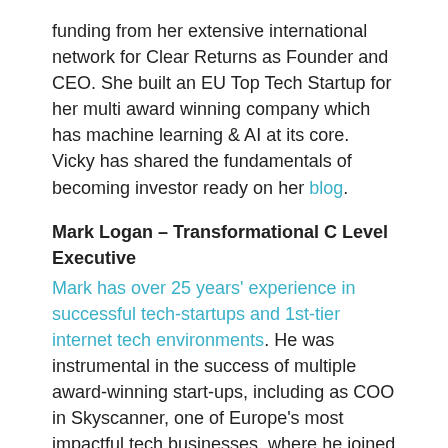funding from her extensive international network for Clear Returns as Founder and CEO. She built an EU Top Tech Startup for her multi award winning company which has machine learning & AI at its core. Vicky has shared the fundamentals of becoming investor ready on her blog.
Mark Logan – Transformational C Level Executive
Mark has over 25 years' experience in successful tech-startups and 1st-tier internet tech environments. He was instrumental in the success of multiple award-winning start-ups, including as COO in Skyscanner, one of Europe's most impactful tech businesses, where he joined in early 2012 to take on the general management of the company, culminating in a £1.5billion acquisition in 2016. He was VP of Engineering at Atlantech, a Scottish software business sold to Cisco for $180m in 2000, and a